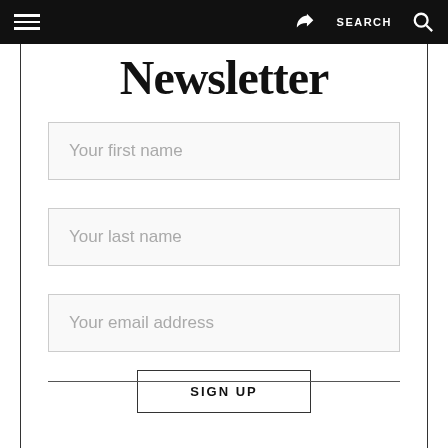≡  [share]  SEARCH  🔍
Newsletter
Your first name
Your last name
Your email address
SIGN UP